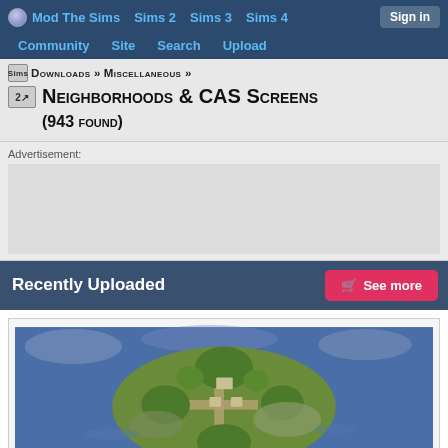Mod The Sims | Sims 2 | Sims 3 | Sims 4 | Sign in
Community | Site | Search | Upload
Sims 2 Downloads » Miscellaneous » Neighborhoods & CAS Screens (943 found)
Advertisement:
Recently Uploaded
See more
[Figure (screenshot): Aerial view of a Sims island neighborhood with green areas, paths, and structures on blue water background]